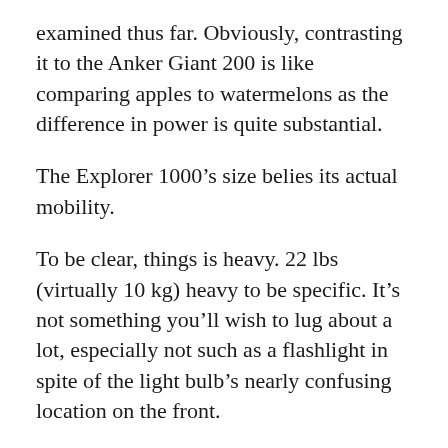examined thus far. Obviously, contrasting it to the Anker Giant 200 is like comparing apples to watermelons as the difference in power is quite substantial.
The Explorer 1000’s size belies its actual mobility.
To be clear, things is heavy. 22 lbs (virtually 10 kg) heavy to be specific. It’s not something you’ll wish to lug about a lot, especially not such as a flashlight in spite of the light bulb’s nearly confusing location on the front.
That stated, the Jackery Traveler 1000 is really lightweight compared to its peers in the 1000W department, some of which consider 38 to 40 pounds.